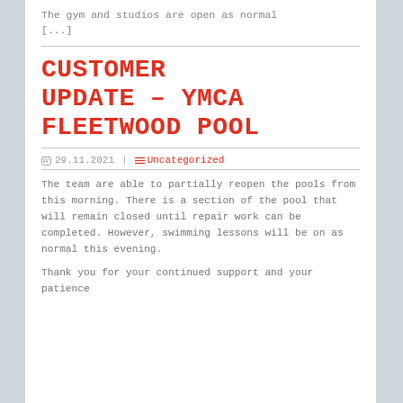The gym and studios are open as normal [...]
CUSTOMER UPDATE – YMCA FLEETWOOD POOL
📅 29.11.2021  |  ≡ Uncategorized
The team are able to partially reopen the pools from this morning. There is a section of the pool that will remain closed until repair work can be completed. However, swimming lessons will be on as normal this evening.
Thank you for your continued support and your patience